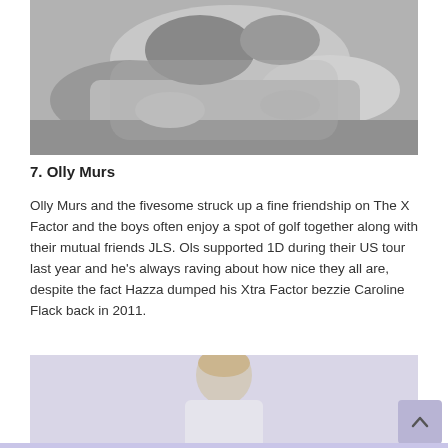[Figure (photo): Black and white photo of a person lying down, partially visible torso and hands]
7. Olly Murs
Olly Murs and the fivesome struck up a fine friendship on The X Factor and the boys often enjoy a spot of golf together along with their mutual friends JLS. Ols supported 1D during their US tour last year and he's always raving about how nice they all are, despite the fact Hazza dumped his Xtra Factor bezzie Caroline Flack back in 2011.
[Figure (photo): Photo of Olly Murs, a young man with styled blonde hair wearing a white shirt, standing against a light background]